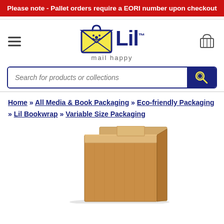Please note - Pallet orders require a EORI number upon checkout
[Figure (logo): Lil Packaging logo with envelope mascot and tagline 'mail happy']
Search for products or collections
Home » All Media & Book Packaging » Eco-friendly Packaging » Lil Bookwrap » Variable Size Packaging
[Figure (photo): Cardboard bookwrap packaging product photo showing a brown corrugated cardboard mailer]